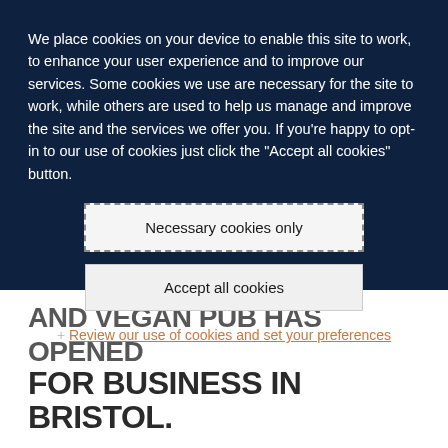We place cookies on your device to enable this site to work, to enhance your user experience and to improve our services. Some cookies we use are necessary for the site to work, while others are used to help us manage and improve the site and the services we offer you. If you're happy to opt-in to our use of cookies just click the "Accept all cookies" button.
Necessary cookies only
Accept all cookies
+ Review our use of cookies and set your preferences
AND VEGAN PUB HAS OPENED FOR BUSINESS IN BRISTOL.
The Adam and Eve serves only vegetarian food and drink. The outlet is run by the same family that already operates Small Bar, a craft-ale pub in the city.
When taking over a pub or starting up a new bar, it's important to